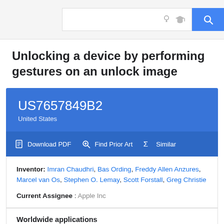Search bar with lightbulb, graduation cap, and search icons
Unlocking a device by performing gestures on an unlock image
US7657849B2
United States
Download PDF  Find Prior Art  Similar
Inventor: Imran Chaudhri, Bas Ording, Freddy Allen Anzures, Marcel van Os, Stephen O. Lemay, Scott Forstall, Greg Christie
Current Assignee : Apple Inc
Worldwide applications
2005 · US  2006 · KR KR CN ES JP EP WO KR EP AU KR KR AT EP